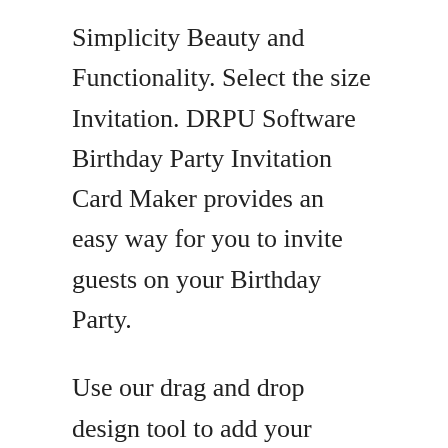Simplicity Beauty and Functionality. Select the size Invitation. DRPU Software Birthday Party Invitation Card Maker provides an easy way for you to invite guests on your Birthday Party.
Use our drag and drop design tool to add your personal flair. You can use these cards for any purpose as you want. Enter Birthday in the search box and then select one birthday invitation template.
Use Canva to create a custom birthday invitation your friends and family will love. Open Fotor and click Create a Design. Invite